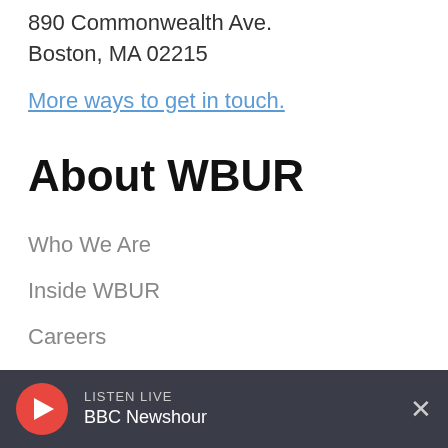890 Commonwealth Ave.
Boston, MA 02215
More ways to get in touch.
About WBUR
Who We Are
Inside WBUR
Careers
WBUR Staff
Community Advisory Board
Board Of Directors
LISTEN LIVE BBC Newshour